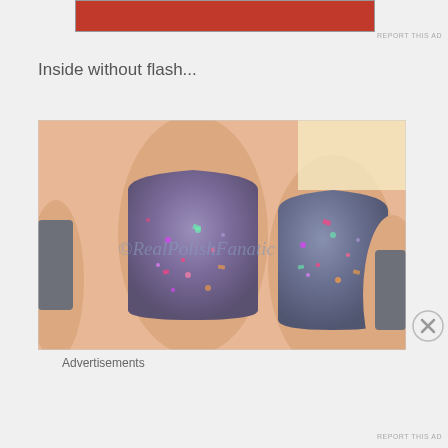[Figure (other): Red advertisement banner at top of page]
REPORT THIS AD
Inside without flash...
[Figure (photo): Close-up photo of fingernails painted with gray/purple glitter nail polish with colorful flakes, watermarked with ©RealPolishFanatic]
Advertisements
REPORT THIS AD